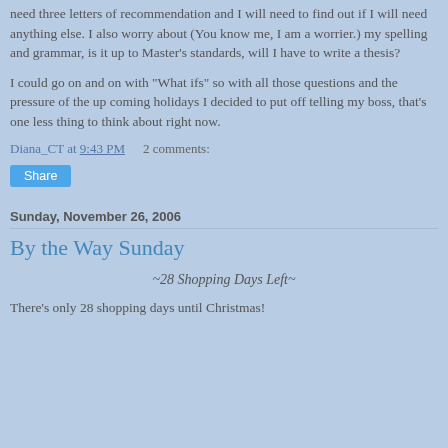need three letters of recommendation and I will need to find out if I will need anything else. I also worry about (You know me, I am a worrier.) my spelling and grammar, is it up to Master's standards, will I have to write a thesis?
I could go on and on with "What ifs" so with all those questions and the pressure of the up coming holidays I decided to put off telling my boss, that's one less thing to think about right now.
Diana_CT at 9:43 PM    2 comments:
Share
Sunday, November 26, 2006
By the Way Sunday
~28 Shopping Days Left~
There's only 28 shopping days until Christmas!